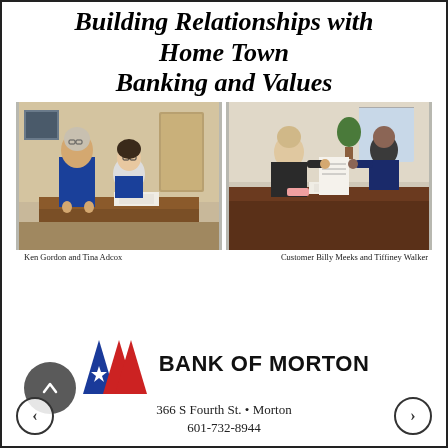Building Relationships with Home Town Banking and Values
[Figure (photo): Two bank employees (Ken Gordon and Tina Adcox) posing in an office. Man in blue shirt standing, woman in blue jacket seated at desk.]
[Figure (photo): Customer Billy Meeks and Tiffiney Walker at a desk, exchanging documents in a bank office setting.]
Ken Gordon and Tina Adcox
Customer Billy Meeks and Tiffiney Walker
[Figure (logo): Bank of Morton logo: red and blue chevron/M shape with star, text BANK OF MORTON below.]
366 S Fourth St. • Morton
601-732-8944